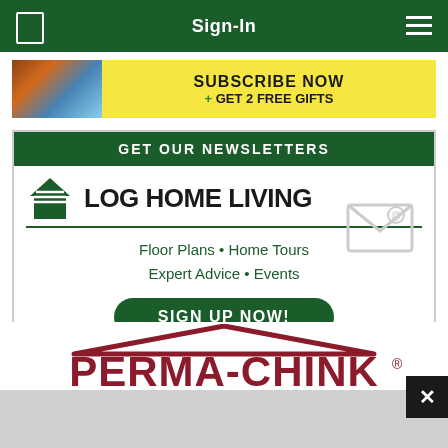Sign-In
[Figure (screenshot): Subscribe Now + Get 2 Free Gifts banner ad with magazine images on the left and yellow text on black background]
[Figure (screenshot): Get Our Newsletters - Log Home Living newsletter signup box with house icon logo, topics listed (Floor Plans, Home Tours, Expert Advice, Events), and a Sign Up Now button]
[Figure (logo): Perma-Chink logo in dark red/maroon with house roof shape above the text]